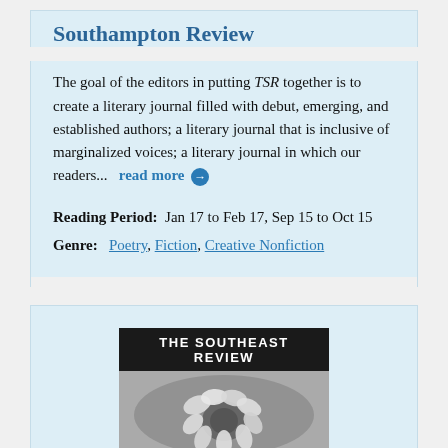Southampton Review
The goal of the editors in putting TSR together is to create a literary journal filled with debut, emerging, and established authors; a literary journal that is inclusive of marginalized voices; a literary journal in which our readers...   read more →
Reading Period:  Jan 17 to Feb 17, Sep 15 to Oct 15
Genre:  Poetry, Fiction, Creative Nonfiction
[Figure (photo): Cover of The Southeast Review magazine with black title bar and black-and-white photo of a flower with petals]